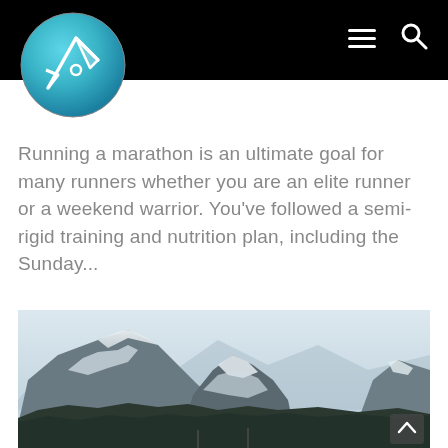[Figure (logo): Circular logo with teal/blue gradient background and white geometric arrow/compass icon]
Running a marathon is an ultimate goal for many runners whether you are an elite runner or a weekend warrior. You've followed a semi-rigid training and nutrition plan, including the Sunday...
[Figure (photo): Mountain landscape with snow-capped peaks, rocky terrain and forested foothills under an overcast sky]